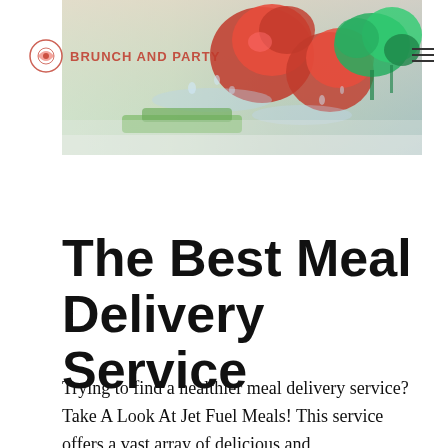[Figure (photo): Header banner photo showing fresh vegetables including tomatoes, broccoli, and green vegetables with water splashing, used as a website header image. Overlaid with a food blog logo reading 'BRUNCH AND PARTY' with a decorative icon on the left, and a hamburger menu icon on the right.]
The Best Meal Delivery Service
Trying to find a healthier meal delivery service? Take A Look At Jet Fuel Meals! This service offers a vast array of delicious and